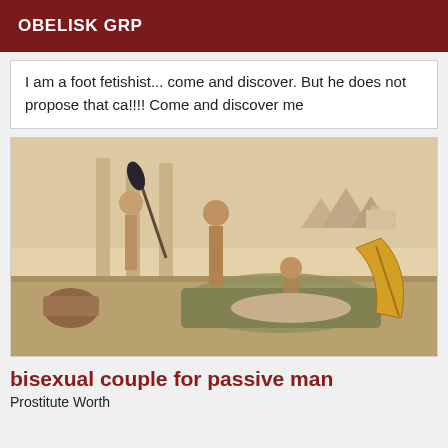OBELISK GRP
I am a foot fetishist... come and discover. But he does not propose that ca!!!! Come and discover me
[Figure (illustration): Ancient Egyptian erotic illustration depicting figures in a classical Greco-Roman or ancient Egyptian setting with columns and pyramids visible in the background.]
bisexual couple for passive man
Prostitute Worth